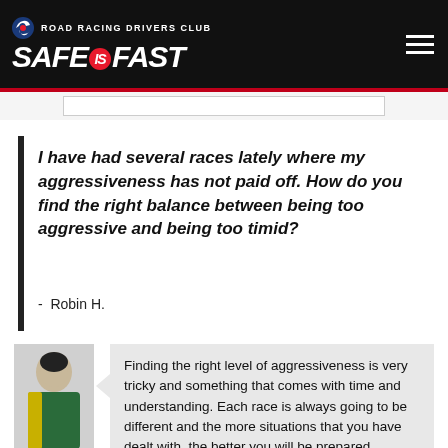ROAD RACING DRIVERS CLUB SAFE IS FAST
I have had several races lately where my aggressiveness has not paid off. How do you find the right balance between being too aggressive and being too timid?
- Robin H.
Finding the right level of aggressiveness is very tricky and something that comes with time and understanding. Each race is always going to be different and the more situations that you have dealt with, the better you will be prepared.